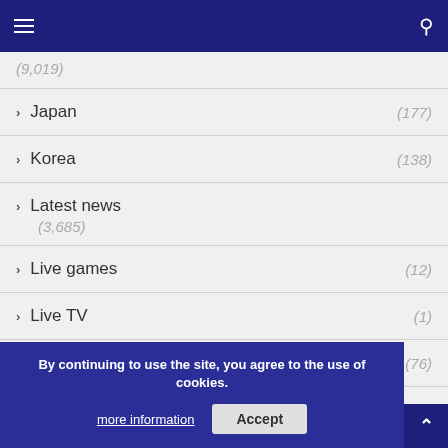(navigation bar with menu and search icons)
(9,019)
Japan (177)
Korea (138)
Latest news (3,685)
Live games (12)
Live TV (1)
Mexico (76)
National teams stats (45)
NORCECA (2…)
By continuing to use the site, you agree to the use of cookies. more information Accept